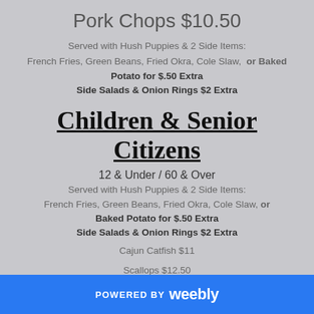Pork Chops $10.50
Served with Hush Puppies & 2 Side Items:
French Fries, Green Beans, Fried Okra, Cole Slaw, or Baked Potato for $.50 Extra
Side Salads & Onion Rings $2 Extra
Children & Senior Citizens
12 & Under / 60 & Over
Served with Hush Puppies & 2 Side Items:
French Fries, Green Beans, Fried Okra, Cole Slaw, or Baked Potato for $.50 Extra
Side Salads & Onion Rings $2 Extra
Cajun Catfish $11
Scallops $12.50
POWERED BY weebly